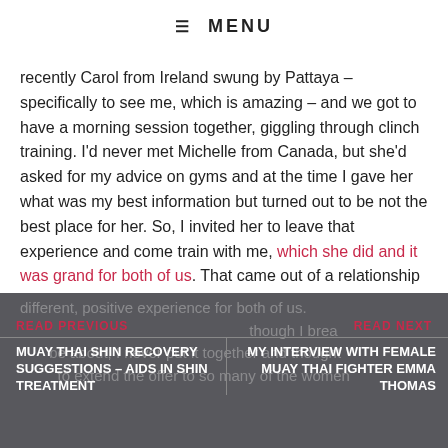≡ MENU
recently Carol from Ireland swung by Pattaya – specifically to see me, which is amazing – and we got to have a morning session together, giggling through clinch training. I'd never met Michelle from Canada, but she'd asked for my advice on gyms and at the time I gave her what was my best information but turned out to be not the best place for her. So, I invited her to leave that experience and come train with me, which she did and it was grand for both of us. That came out of a relationship that was just trying to offer support on the internet and became a different, positive experience for both of us.
READ PREVIOUS | MUAY THAI SHIN RECOVERY SUGGESTIONS – AIDS IN SHIN TREATMENT || READ NEXT | MY INTERVIEW WITH FEMALE MUAY THAI FIGHTER EMMA THOMAS